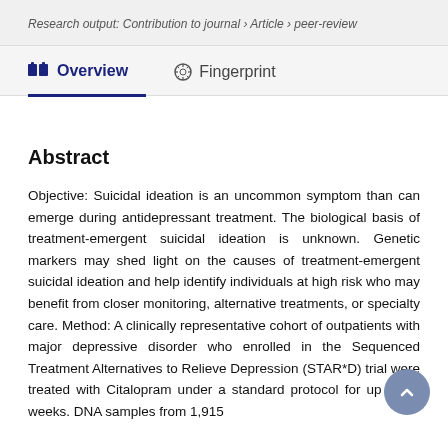Research output: Contribution to journal › Article › peer-review
Overview   Fingerprint
Abstract
Objective: Suicidal ideation is an uncommon symptom than can emerge during antidepressant treatment. The biological basis of treatment-emergent suicidal ideation is unknown. Genetic markers may shed light on the causes of treatment-emergent suicidal ideation and help identify individuals at high risk who may benefit from closer monitoring, alternative treatments, or specialty care. Method: A clinically representative cohort of outpatients with major depressive disorder who enrolled in the Sequenced Treatment Alternatives to Relieve Depression (STAR*D) trial were treated with Citalopram under a standard protocol for up to 14 weeks. DNA samples from 1,915 participants were genotyped for 768 single nucleotide...